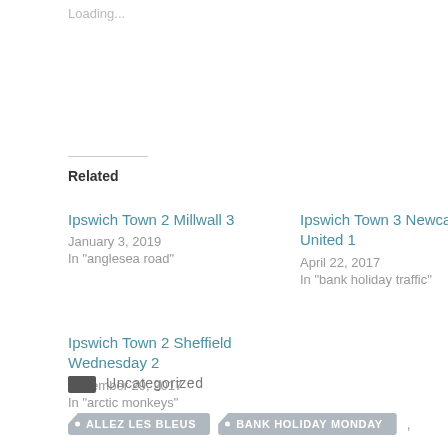Loading...
Related
Ipswich Town 2 Millwall 3
January 3, 2019
In "anglesea road"
Ipswich Town 3 Newcastle United 1
April 22, 2017
In "bank holiday traffic"
Ipswich Town 2 Sheffield Wednesday 2
November 29, 2017
In "arctic monkeys"
Uncategorized
ALLEZ LES BLEUS   BANK HOLIDAY MONDAY ,